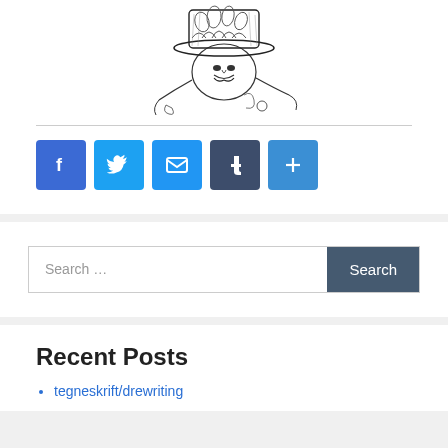[Figure (illustration): Black and white ink illustration of a fantastical figure wearing an ornate hat, with swirling decorative elements, leaves, and small creatures.]
[Figure (infographic): Social share buttons: Facebook (blue), Twitter (light blue), Email (blue), Tumblr (dark blue/grey), Share/More (blue)]
Search …
Search
Recent Posts
tegneskrift/drewriting